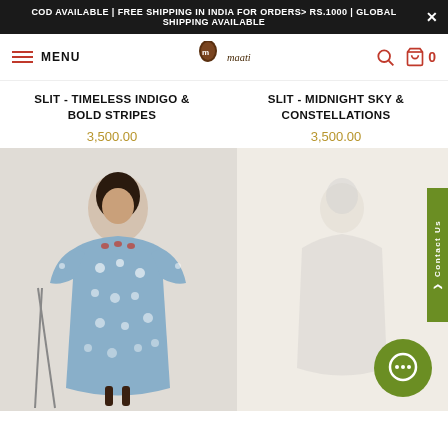COD AVAILABLE | FREE SHIPPING IN INDIA FOR ORDERS> RS.1000 | GLOBAL SHIPPING AVAILABLE
MENU | maati | Search | Cart 0
SLIT - TIMELESS INDIGO & BOLD STRIPES
3,500.00
SLIT - MIDNIGHT SKY & CONSTELLATIONS
3,500.00
[Figure (photo): Woman wearing a blue floral printed long dress/kurta with 3/4 sleeves]
[Figure (photo): Partially visible product image, faded/loading state]